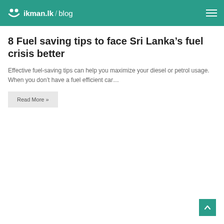ikman.lk / blog
8 Fuel saving tips to face Sri Lanka's fuel crisis better
Effective fuel-saving tips can help you maximize your diesel or petrol usage. When you don't have a fuel efficient car…
Read More »